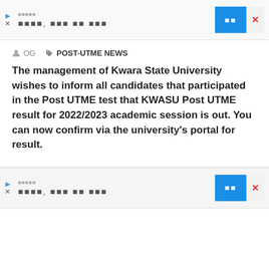[Figure (screenshot): Top advertisement banner with Korean placeholder text, play and close icons on left, blue button and X close button on right]
OG  POST-UTME NEWS
The management of Kwara State University wishes to inform all candidates that participated in the Post UTME test that KWASU Post UTME result for 2022/2023 academic session is out. You can now confirm via the university's portal for result.
[Figure (screenshot): Bottom advertisement banner with Korean placeholder text, play and close icons on left, blue button and X close button on right]